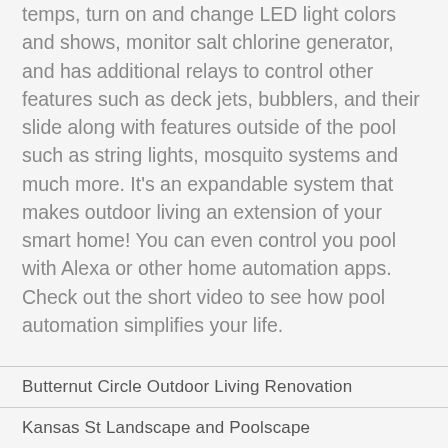temps, turn on and change LED light colors and shows, monitor salt chlorine generator, and has additional relays to control other features such as deck jets, bubblers, and their slide along with features outside of the pool such as string lights, mosquito systems and much more. It’s an expandable system that makes outdoor living an extension of your smart home! You can even control you pool with Alexa or other home automation apps. Check out the short video to see how pool automation simplifies your life.
Butternut Circle Outdoor Living Renovation
Kansas St Landscape and Poolscape